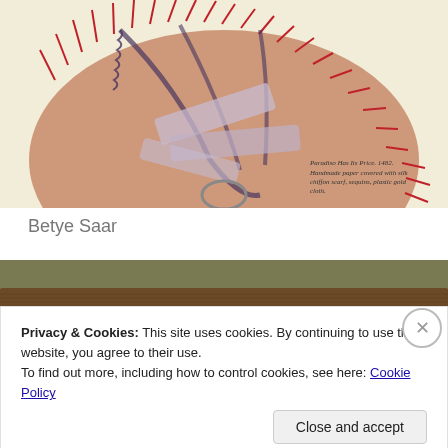[Figure (photo): Artwork photo: a handmade paper fan-like sculpture with red spike edges, dark vine/branch details, and layered paper strips. Caption text reads: 'Paradiso Has Its Price, 1482. Handmade paper covered with silk chiffon scarf, sequins, plastic gold cloth.']
Betye Saar
[Figure (photo): Partial photo of another artwork, showing a horizontal textured brown strip on an olive/khaki background.]
Privacy & Cookies: This site uses cookies. By continuing to use this website, you agree to their use.
To find out more, including how to control cookies, see here: Cookie Policy
Close and accept